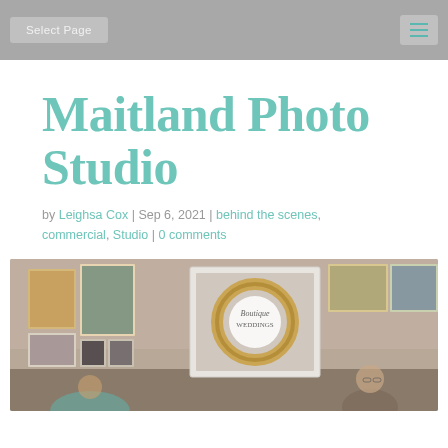Select Page
Maitland Photo Studio
by Leighsa Cox | Sep 6, 2021 | behind the scenes, commercial, Studio | 0 comments
[Figure (photo): Interior of a photography studio with framed photos displayed on a wall, a decorative autumn wreath, a 'Boutique Weddings' sign, and a person visible in the lower right portion of the image.]